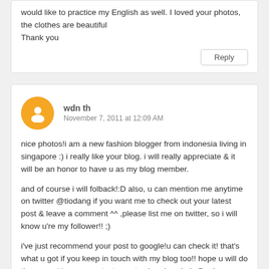would like to practice my English as well. I loved your photos, the clothes are beautiful
Thank you
Reply
wdn th
November 7, 2011 at 12:09 AM
nice photos!i am a new fashion blogger from indonesia living in singapore :) i really like your blog. i will really appreciate & it will be an honor to have u as my blog member.
and of course i will folback!:D also, u can mention me anytime on twitter @tiodang if you want me to check out your latest post & leave a comment ^^ ,please list me on twitter, so i will know u're my follower!! ;)
i've just recommend your post to google!u can check it! that's what u got if you keep in touch with my blog too!! hope u will do the same ^^ u can contact me at : cheeringwinda@yahoo.com
Reply